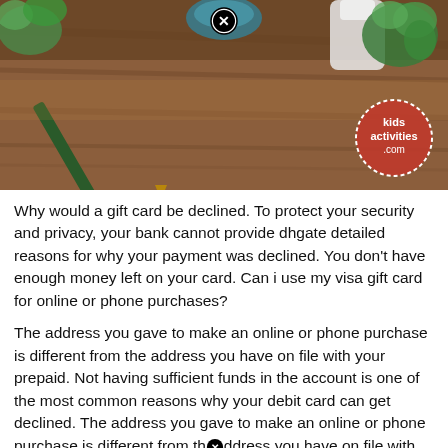[Figure (photo): A wooden table with a dark green pencil, a teal/blue decorative object, a white bottle, and green succulent plants. A 'kids activities .com' watermark logo in a circle is visible in the bottom right of the image. A close/X button appears at the top center.]
Why would a gift card be declined. To protect your security and privacy, your bank cannot provide dhgate detailed reasons for why your payment was declined. You don't have enough money left on your card. Can i use my visa gift card for online or phone purchases?
The address you gave to make an online or phone purchase is different from the address you have on file with your prepaid. Not having sufficient funds in the account is one of the most common reasons why your debit card can get declined. The address you gave to make an online or phone purchase is different from thⓧddress you have on file with